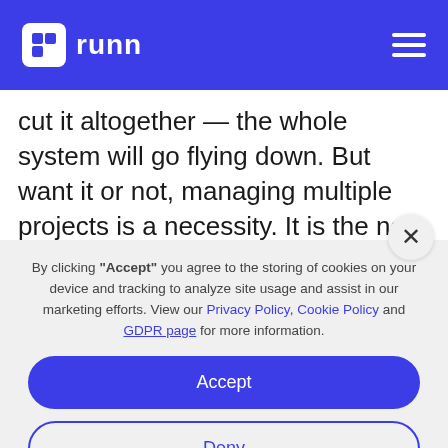runn
cut it altogether — the whole system will go flying down. But want it or not, managing multiple projects is a necessity. It is the new normal for businesses in 2022, in a post-pandemic world where leaders
By clicking "Accept" you agree to the storing of cookies on your device and tracking to analyze site usage and assist in our marketing efforts. View our Privacy Policy, Cookie Policy and GDPR page for more information.
Accept
Deny
Preferences